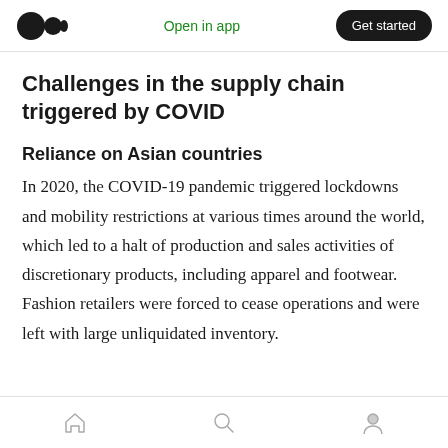Open in app | Get started
Challenges in the supply chain triggered by COVID
Reliance on Asian countries
In 2020, the COVID-19 pandemic triggered lockdowns and mobility restrictions at various times around the world, which led to a halt of production and sales activities of discretionary products, including apparel and footwear. Fashion retailers were forced to cease operations and were left with large unliquidated inventory.
Home | Search | Profile